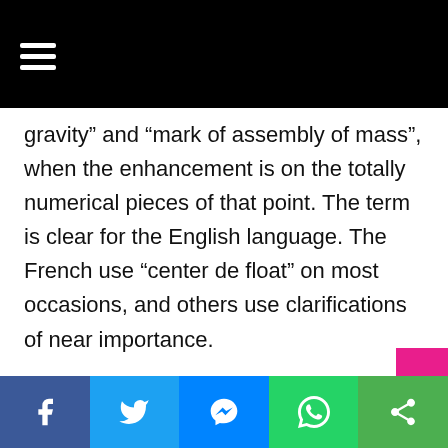[hamburger menu icon]
gravity” and “mark of assembly of mass”, when the enhancement is on the totally numerical pieces of that point. The term is clear for the English language. The French use “center de float” on most occasions, and others use clarifications of near importance.
The characteristic of get together of gravity, as the name shows, is a thought that started in mechanics, in reality as shown by progress works out. When, where and by whom it was envisioned isn’t known, as a thought has happened to
Facebook | Twitter | Messenger | WhatsApp | Share